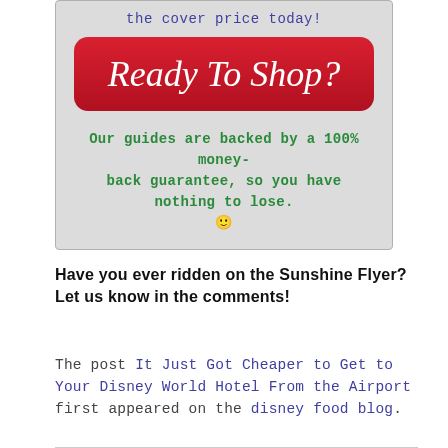[Figure (other): Gray box with a red rounded button labeled 'Ready To Shop?' in white italic script, and green bold text below: 'Our guides are backed by a 100% money-back guarantee, so you have nothing to lose. 🙂']
Have you ever ridden on the Sunshine Flyer? Let us know in the comments!
The post It Just Got Cheaper to Get to Your Disney World Hotel From the Airport first appeared on the disney food blog.